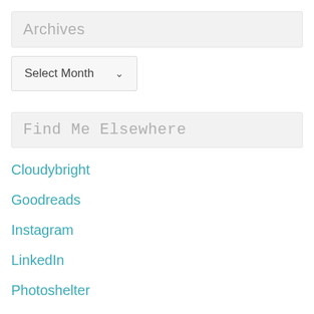Archives
Select Month
Find Me Elsewhere
Cloudybright
Goodreads
Instagram
LinkedIn
Photoshelter
Twitter